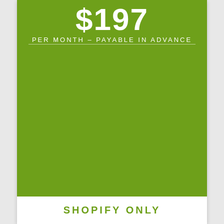$197
PER MONTH - PAYABLE IN ADVANCE
SHOPIFY ONLY